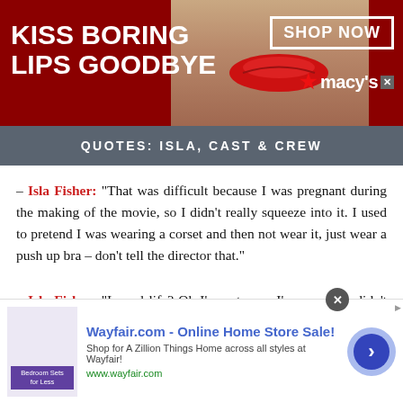[Figure (other): Macy's advertisement banner: 'KISS BORING LIPS GOODBYE' with SHOP NOW button and macy's logo, featuring woman with red lips]
QUOTES: ISLA, CAST & CREW
– Isla Fisher: "That was difficult because I was pregnant during the making of the movie, so I didn't really squeeze into it. I used to pretend I was wearing a corset and then not wear it, just wear a push up bra – don't tell the director that."
– Isla Fisher: "In real life? Oh I'm not sure, I'm sure they didn't have the CSI forensic teams they have today so I'm sure they were able to get away. And I think they preyed on people who were hidden away form the community that no one would notice." (on why she thinks Burke & Hare got away with their crimes for so long.)
[Figure (other): Wayfair.com advertisement: Online Home Store Sale! Shop for A Zillion Things Home across all styles at Wayfair! www.wayfair.com]